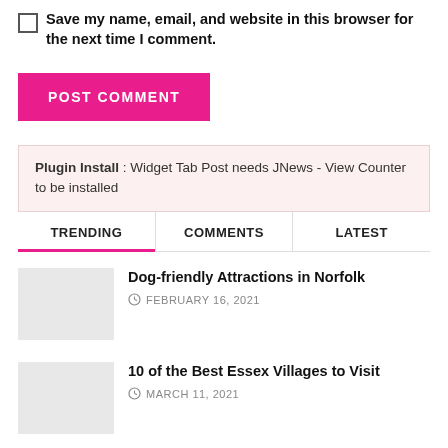Save my name, email, and website in this browser for the next time I comment.
POST COMMENT
Plugin Install : Widget Tab Post needs JNews - View Counter to be installed
TRENDING | COMMENTS | LATEST
Dog-friendly Attractions in Norfolk
FEBRUARY 16, 2021
10 of the Best Essex Villages to Visit
MARCH 11, 2021
A walk around Saffron Walden and Audley End Park
APRIL 12, 2021